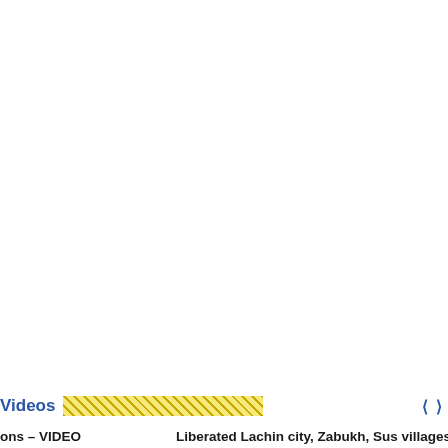[Figure (other): Large blank white area occupying most of the page, representing an empty or unloaded media/video area]
Videos
ons – VIDEO
Liberated Lachin city, Zabukh, Sus villages